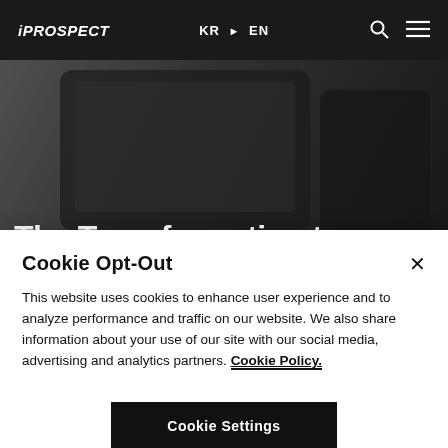iPROSPECT  KR ▶ EN
[Figure (photo): Dark hero background image showing a device or screen with dark tones and overlay, partially visible behind title text.]
The Transformation to Free Product Listings
Cookie Opt-Out
This website uses cookies to enhance user experience and to analyze performance and traffic on our website. We also share information about your use of our site with our social media, advertising and analytics partners. Cookie Policy.
Cookie Settings